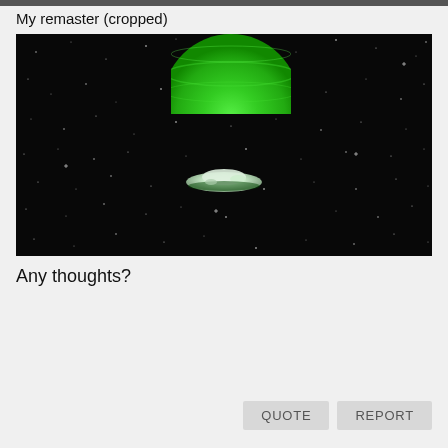My remaster (cropped)
[Figure (illustration): A dark space scene with stars. A large green planet/moon is visible at the top center, partially cropped. In the middle of the scene is a small white spacecraft (resembling the Millennium Falcon) flying through space.]
Any thoughts?